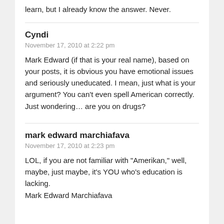learn, but I already know the answer. Never.
Cyndi
November 17, 2010 at 2:22 pm
Mark Edward (if that is your real name), based on your posts, it is obvious you have emotional issues and seriously uneducated. I mean, just what is your argument? You can't even spell American correctly. Just wondering… are you on drugs?
mark edward marchiafava
November 17, 2010 at 2:23 pm
LOL, if you are not familiar with "Amerikan," well, maybe, just maybe, it's YOU who's education is lacking.
Mark Edward Marchiafava